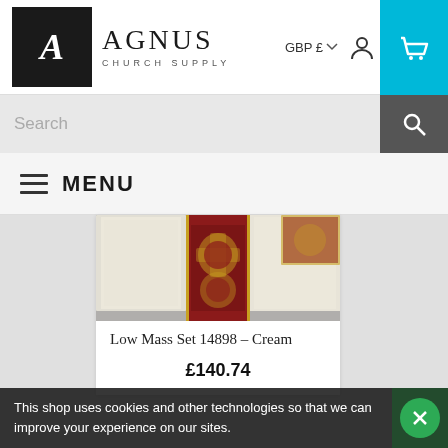AGNUS CHURCH SUPPLY
GBP £
Search
MENU
[Figure (photo): Product photo of a cream vestment Low Mass Set with red and gold ornamental embroidery panel, laid flat on a grey surface.]
Low Mass Set 14898 – Cream
£140.74
This shop uses cookies and other technologies so that we can improve your experience on our sites.